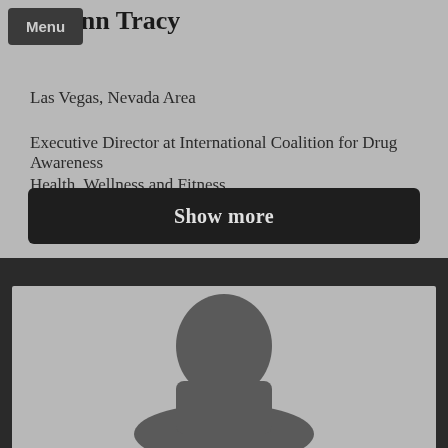Ann Tracy
Menu
Las Vegas, Nevada Area
Executive Director at International Coalition for Drug Awareness
Health, Wellness and Fitness
Show more
[Figure (photo): Profile photo silhouette placeholder — gray background with dark gray person silhouette centered at bottom]